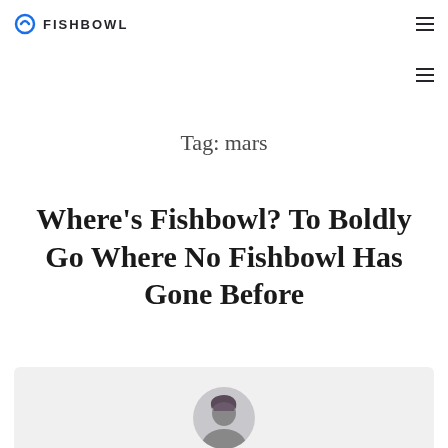FISHBOWL
Tag: mars
Where's Fishbowl? To Boldly Go Where No Fishbowl Has Gone Before
[Figure (photo): Author profile photo partially visible at bottom of page, circular cropped headshot of a person with dark hair]